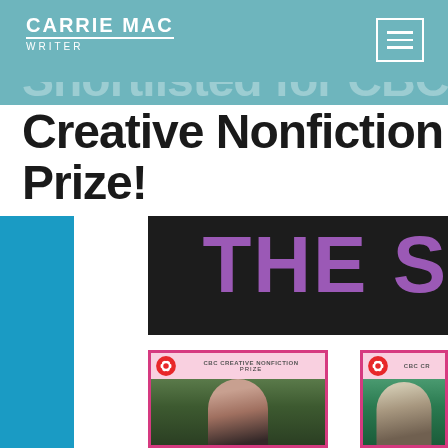CARRIE MAC WRITER
Shortlisted for CBC's Creative Nonfiction Prize!
[Figure (illustration): Dark background banner with large purple text reading 'THE S' (partially visible), part of 'THE SHORTLIST' or similar heading]
[Figure (photo): CBC Creative Nonfiction Prize card showing a dark-haired woman in a striped sweater against greenery]
[Figure (photo): CBC Creative Nonfiction Prize card (partially visible) showing a person with short grey-blonde hair and colourful earrings against green background]